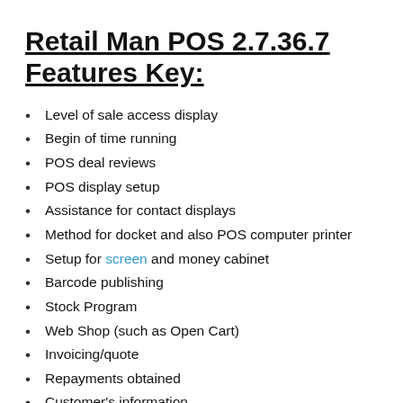Retail Man POS 2.7.36.7 Features Key:
Level of sale access display
Begin of time running
POS deal reviews
POS display setup
Assistance for contact displays
Method for docket and also POS computer printer
Setup for screen and money cabinet
Barcode publishing
Stock Program
Web Shop (such as Open Cart)
Invoicing/quote
Repayments obtained
Customer's information
Product sales evaluation